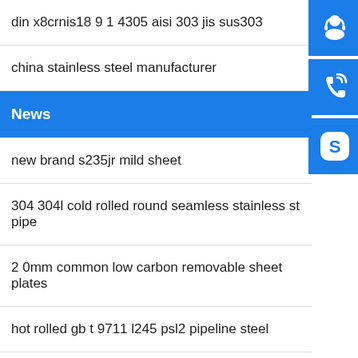din x8crnis18 9 1 4305 aisi 303 jis sus303
china stainless steel manufacturer
News
new brand s235jr mild sheet
304 304l cold rolled round seamless stainless steel pipe
2 0mm common low carbon removable sheet plates
hot rolled gb t 9711 l245 psl2 pipeline steel
effective width 600 1050mm steel plate perforate
[Figure (infographic): Three blue sidebar buttons: customer service headset icon, phone/signal icon, Skype icon]